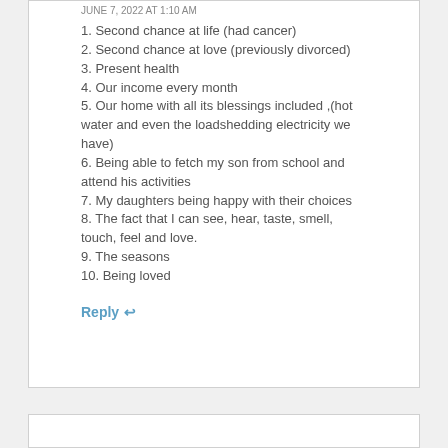JUNE 7, 2022 AT 1:10 AM
1. Second chance at life (had cancer)
2. Second chance at love (previously divorced)
3. Present health
4. Our income every month
5. Our home with all its blessings included ,(hot water and even the loadshedding electricity we have)
6. Being able to fetch my son from school and attend his activities
7. My daughters being happy with their choices
8. The fact that I can see, hear, taste, smell, touch, feel and love.
9. The seasons
10. Being loved
Reply